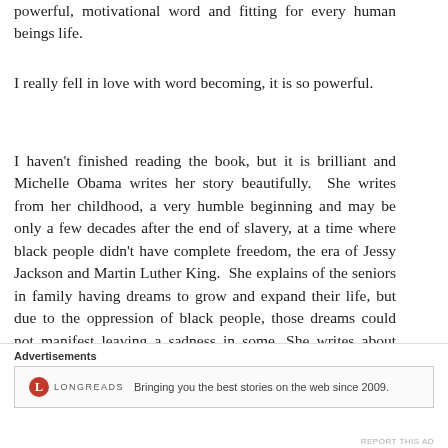powerful, motivational word and fitting for every human beings life.
I really fell in love with word becoming, it is so powerful.
I haven't finished reading the book, but it is brilliant and Michelle Obama writes her story beautifully.  She writes from her childhood, a very humble beginning and may be only a few decades after the end of slavery, at a time where black people didn't have complete freedom, the era of Jessy Jackson and Martin Luther King.  She explains of the seniors in family having dreams to grow and expand their life, but due to the oppression of black people, those dreams could not manifest leaving a sadness in some. She writes about school to the White House, to 'post' the White
Advertisements
[Figure (other): Advertisement banner for Longreads: logo with red circle containing 'L', text 'LONGREADS', tagline 'Bringing you the best stories on the web since 2009.']